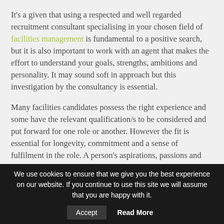It's a given that using a respected and well regarded recruitment consultant specialising in your chosen field of facilities management is fundamental to a positive search, but it is also important to work with an agent that makes the effort to understand your goals, strengths, ambitions and personality. It may sound soft in approach but this investigation by the consultancy is essential.
Many facilities candidates possess the right experience and some have the relevant qualification/s to be considered and put forward for one role or another. However the fit is essential for longevity, commitment and a sense of fulfilment in the role. A person's aspirations, passions and personality play a part in how well they connect with the organisation it is intended they work for. The
We use cookies to ensure that we give you the best experience on our website. If you continue to use this site we will assume that you are happy with it. Accept Read More